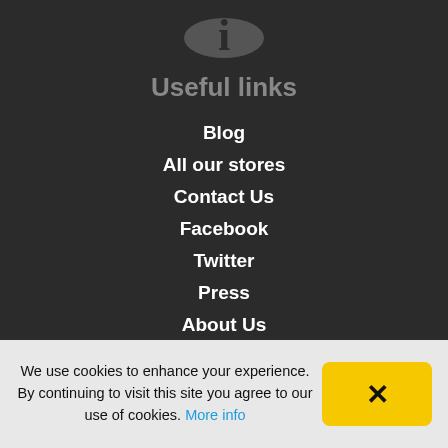[Figure (logo): Dark circle with letter i icon]
Useful links
Blog
All our stores
Contact Us
Facebook
Twitter
Press
About Us
Terms & conditions
Privacy statement
We use cookies to enhance your experience. By continuing to visit this site you agree to our use of cookies. More info